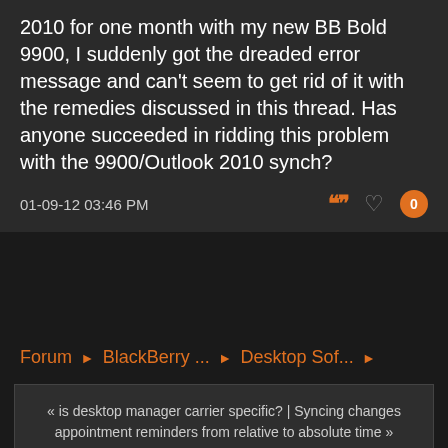2010 for one month with my new BB Bold 9900, I suddenly got the dreaded error message and can't seem to get rid of it with the remedies discussed in this thread. Has anyone succeeded in ridding this problem with the 9900/Outlook 2010 synch?
01-09-12 03:46 PM
Forum › BlackBerry ... › Desktop Sof... ›
« is desktop manager carrier specific? | Syncing changes appointment reminders from relative to absolute time »
Contact Us   BlackBerry Forums at CrackBerry.com   Top